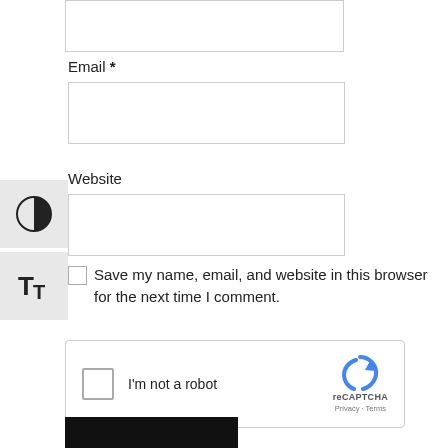[Figure (other): Accessibility toolbar with contrast toggle and text size button on the left side]
Email *
[Figure (other): Email input text field (empty)]
Website
[Figure (other): Website input text field (empty)]
Save my name, email, and website in this browser for the next time I comment.
[Figure (other): reCAPTCHA widget with checkbox labeled I'm not a robot and reCAPTCHA logo with Privacy and Terms links]
[Figure (other): Submit button (black, partially visible at bottom)]